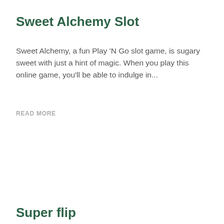Sweet Alchemy Slot
Sweet Alchemy, a fun Play 'N Go slot game, is sugary sweet with just a hint of magic. When you play this online game, you'll be able to indulge in...
READ MORE
Super flip